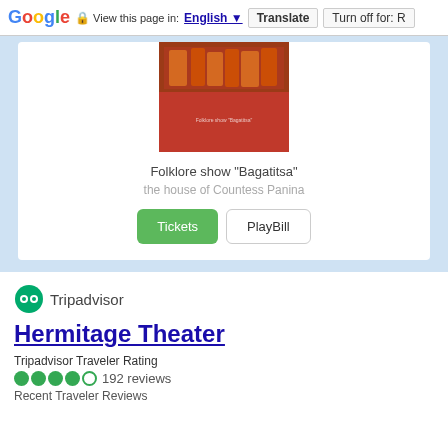Google  View this page in: English  Translate  Turn off for: R
[Figure (photo): Folklore show Bagatitsa promotional image with red background and performers]
Folklore show "Bagatitsa"
the house of Countess Panina
Tickets   PlayBill
[Figure (logo): Tripadvisor owl logo with green circle]
Hermitage Theater
Tripadvisor Traveler Rating
192 reviews
Recent Traveler Reviews